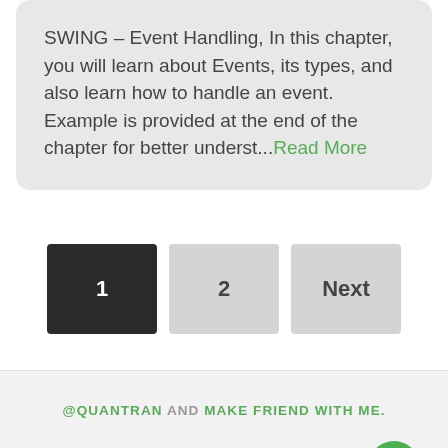SWING – Event Handling, In this chapter, you will learn about Events, its types, and also learn how to handle an event. Example is provided at the end of the chapter for better underst...Read More
1
2
Next
@QUANTRAN AND MAKE FRIEND WITH ME.